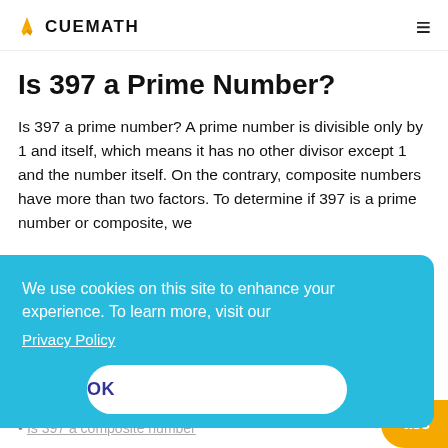CUEMATH
Is 397 a Prime Number?
Is 397 a prime number? A prime number is divisible only by 1 and itself, which means it has no other divisor except 1 and the number itself. On the contrary, composite numbers have more than two factors. To determine if 397 is a prime number or composite, we
We use cookies on this site to enhance your experience. To learn more, visit our Privacy Policy
OK